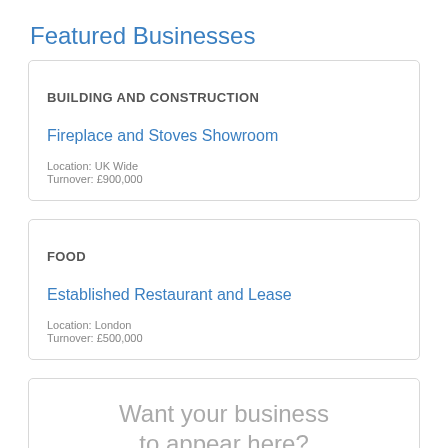Featured Businesses
BUILDING AND CONSTRUCTION
Fireplace and Stoves Showroom
Location: UK Wide
Turnover: £900,000
FOOD
Established Restaurant and Lease
Location: London
Turnover: £500,000
Want your business to appear here?